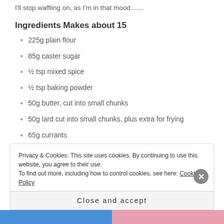I'll stop waffling on, as I'm in that mood.......
Ingredients Makes about 15
225g plain flour
85g caster sugar
½ tsp mixed spice
½ tsp baking powder
50g butter, cut into small chunks
50g lard cut into small chunks, plus extra for frying
65g currants
Privacy & Cookies: This site uses cookies. By continuing to use this website, you agree to their use. To find out more, including how to control cookies, see here: Cookie Policy
Close and accept